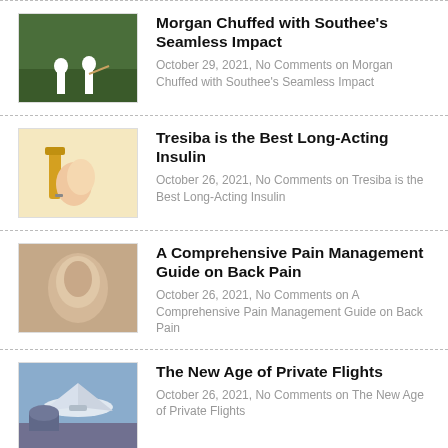Morgan Chuffed with Southee's Seamless Impact
October 29, 2021, No Comments on Morgan Chuffed with Southee's Seamless Impact
Tresiba is the Best Long-Acting Insulin
October 26, 2021, No Comments on Tresiba is the Best Long-Acting Insulin
A Comprehensive Pain Management Guide on Back Pain
October 26, 2021, No Comments on A Comprehensive Pain Management Guide on Back Pain
The New Age of Private Flights
October 26, 2021, No Comments on The New Age of Private Flights
Singapore Cryptocurrency License: A Major framework for Major players
October 26, 2021, Comments Off on Singapore Cryptocurrency License: A Major framework for Major players